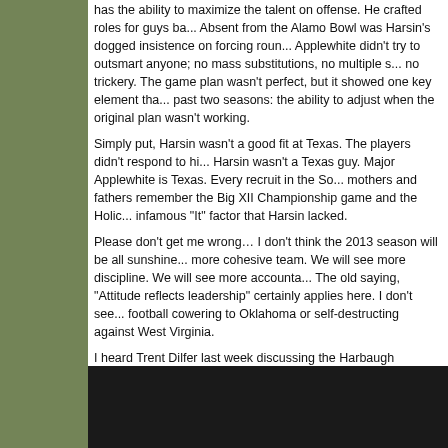has the ability to maximize the talent on offense. He crafted roles for guys ba... Absent from the Alamo Bowl was Harsin's dogged insistence on forcing roun... Applewhite didn't try to outsmart anyone; no mass substitutions, no multiple s... no trickery. The game plan wasn't perfect, but it showed one key element tha... past two seasons: the ability to adjust when the original plan wasn't working.
Simply put, Harsin wasn't a good fit at Texas. The players didn't respond to hi... Harsin wasn't a Texas guy. Major Applewhite is Texas. Every recruit in the So... mothers and fathers remember the Big XII Championship game and the Holic... infamous "It" factor that Harsin lacked.
Please don't get me wrong… I don't think the 2013 season will be all sunshine... more cohesive team. We will see more discipline. We will see more accounta... The old saying, "Attitude reflects leadership" certainly applies here. I don't see... football cowering to Oklahoma or self-destructing against West Virginia.
I heard Trent Dilfer last week discussing the Harbaugh brothers and he said, '... and the best from the best.' This immediately made me think of Applewhite's ... quote when asked about the differences between his offense and Harsin's. He... even as a player this game is about players, put [the ball] in the best guys' ha... think sometimes we over think it a little bit as coaches, so I'm excited to watch...
I'm excited to watch these guys go play as well.
Watch this video below and it will give you a taste of what the players think of
[Figure (screenshot): Dark video embed placeholder at the bottom of the page]